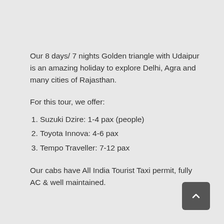Our 8 days/ 7 nights Golden triangle with Udaipur is an amazing holiday to explore Delhi, Agra and many cities of Rajasthan.
For this tour, we offer:
Suzuki Dzire: 1-4 pax (people)
Toyota Innova: 4-6 pax
Tempo Traveller: 7-12 pax
Our cabs have All India Tourist Taxi permit, fully AC & well maintained.